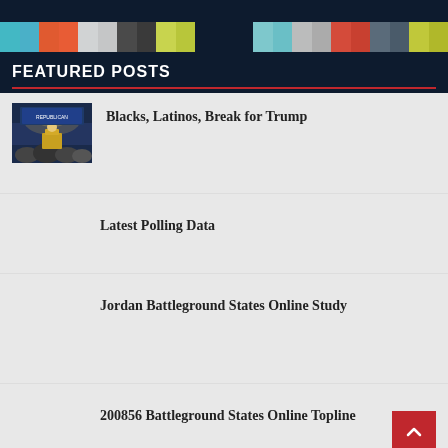FEATURED POSTS
Blacks, Latinos, Break for Trump
Latest Polling Data
Jordan Battleground States Online Study
200856 Battleground States Online Topline